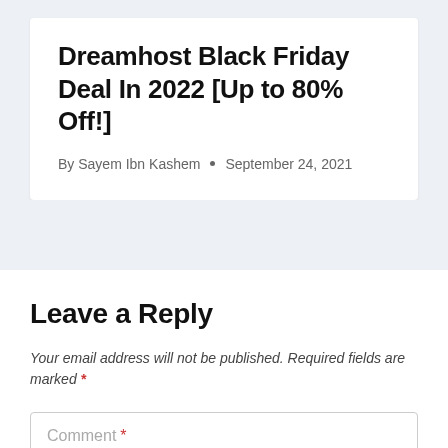Dreamhost Black Friday Deal In 2022 [Up to 80% Off!]
By Sayem Ibn Kashem • September 24, 2021
Leave a Reply
Your email address will not be published. Required fields are marked *
Comment *